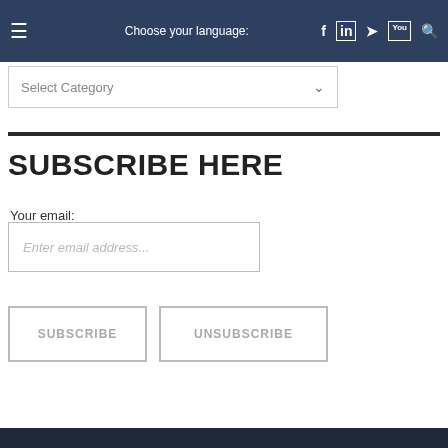☰  Choose your language:  f  in  🐦  You  🔍
Select Category
SUBSCRIBE HERE
Your email:
Enter email address...
SUBSCRIBE
UNSUBSCRIBE